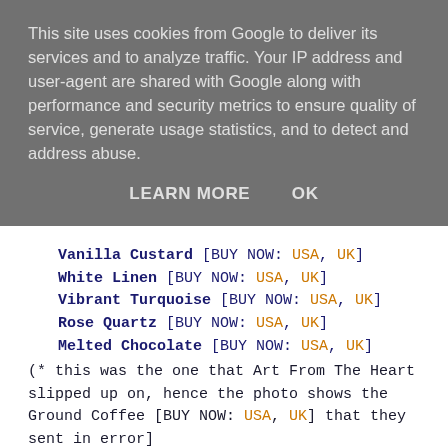This site uses cookies from Google to deliver its services and to analyze traffic. Your IP address and user-agent are shared with Google along with performance and security metrics to ensure quality of service, generate usage statistics, and to detect and address abuse.
LEARN MORE   OK
Vanilla Custard [BUY NOW: USA, UK]
White Linen [BUY NOW: USA, UK]
Vibrant Turquoise [BUY NOW: USA, UK]
Rose Quartz [BUY NOW: USA, UK]
Melted Chocolate [BUY NOW: USA, UK]
(* this was the one that Art From The Heart slipped up on, hence the photo shows the Ground Coffee [BUY NOW: USA, UK] that they sent in error]
Some of these are re-stocks, some of them are new to me - including Vanilla Custard and Rose Quartz from the deliciously pastel